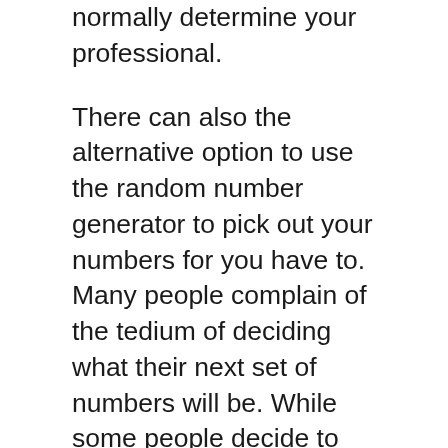normally determine your professional.
There can also the alternative option to use the random number generator to pick out your numbers for you have to. Many people complain of the tedium of deciding what their next set of numbers will be. While some people decide to use their same set of numbers virtually any time (and that is okay), many choose to settle on new numbers every minutes. The numbers chosen by the generator are completely random and are not designed from any statistic or hot and cold number list. Are usually exactly what the title says, random. Lessons to do is go through the generator button, wait for that results staying posted and log within view the uk lottery